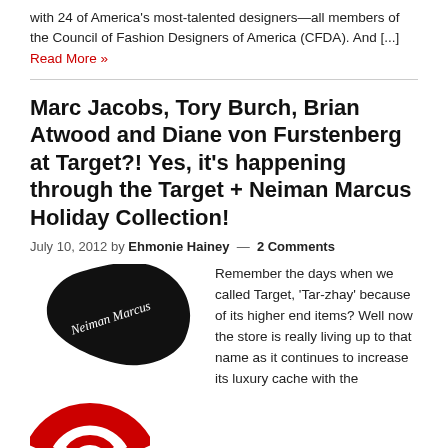with 24 of America's most-talented designers—all members of the Council of Fashion Designers of America (CFDA). And [...] Read More »
Marc Jacobs, Tory Burch, Brian Atwood and Diane von Furstenberg at Target?! Yes, it's happening through the Target + Neiman Marcus Holiday Collection!
July 10, 2012 by Ehmonie Hainey — 2 Comments
[Figure (logo): Neiman Marcus logo (black feather/drop shape with cursive Neiman Marcus text) and Target logo (red bullseye/arch shape) side by side in article image block]
Remember the days when we called Target, 'Tar-zhay' because of its higher end items? Well now the store is really living up to that name as it continues to increase its luxury cache with the launch of a holiday collaboration with Neiman Marcus! Yes, you